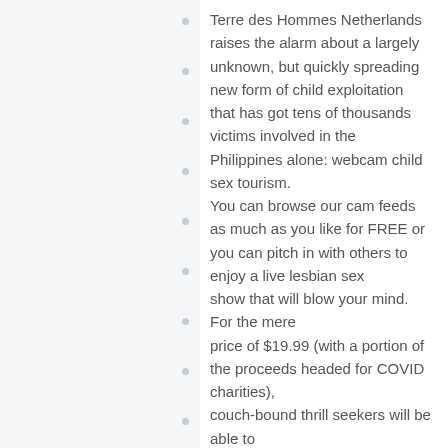Terre des Hommes Netherlands raises the alarm about a largely unknown, but quickly spreading new form of child exploitation that has got tens of thousands victims involved in the Philippines alone: webcam child sex tourism. You can browse our cam feeds as much as you like for FREE or you can pitch in with others to enjoy a live lesbian sex show that will blow your mind. For the mere price of $19.99 (with a portion of the proceeds headed for COVID charities), couch-bound thrill seekers will be able to gaze around the multi-cam setup for signs of unsettled spirits. It`s a guarantee that guys unfamiliar with free live performance will turn into the most depraved and vulgar online show. Her free hand up. Found his fingers parted free tranny chat quickly.
Reply